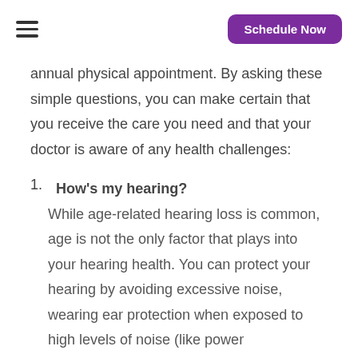Schedule Now
annual physical appointment. By asking these simple questions, you can make certain that you receive the care you need and that your doctor is aware of any health challenges:
How's my hearing?
While age-related hearing loss is common, age is not the only factor that plays into your hearing health. You can protect your hearing by avoiding excessive noise, wearing ear protection when exposed to high levels of noise (like power